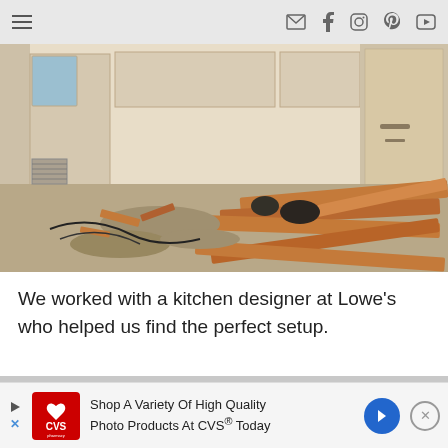Navigation bar with hamburger menu and social icons (email, facebook, instagram, pinterest, youtube)
[Figure (photo): Kitchen under demolition showing debris, torn-out lumber, broken flooring, exposed walls and wiring, construction mess on floor]
We worked with a kitchen designer at Lowe's who helped us find the perfect setup.
[Figure (photo): Partially visible image of a house roof/exterior at the bottom of the page]
[Figure (screenshot): CVS Pharmacy advertisement banner: 'Shop A Variety Of High Quality Photo Products At CVS® Today']